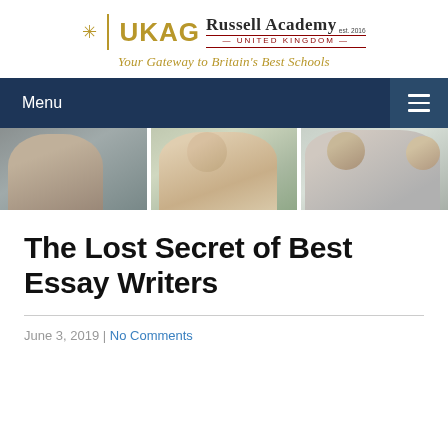[Figure (logo): UKAG Russell Academy logo with snowflake icon, divider bar, and tagline 'Your Gateway to Britain's Best Schools']
Menu
[Figure (photo): Three-panel photo strip showing people in educational/discussion setting — blurred figure on left, smiling man center, two people on right]
The Lost Secret of Best Essay Writers
June 3, 2019 | No Comments